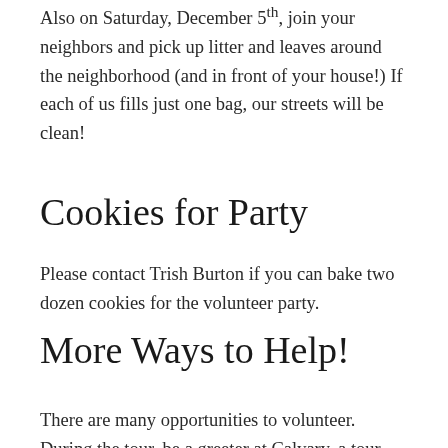Also on Saturday, December 5th, join your neighbors and pick up litter and leaves around the neighborhood (and in front of your house!) If each of us fills just one bag, our streets will be clean!
Cookies for Party
Please contact Trish Burton if you can bake two dozen cookies for the volunteer party.
More Ways to Help!
There are many opportunities to volunteer. During the tour, be a greeter at Calvary, a tour guide, a house sitter for a homeowner on tour, a conductor at the train museum or be ready to help tour houses with salting and shoveling should we get snow that weekend. Or, help with the volunteer party or set up the luminaria. If each of us helps in just one way, then our neighbors don't have to do all the work to make this, our biggest fundraiser (that pays for all of